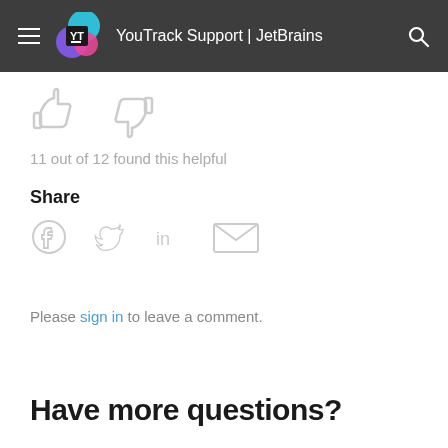YouTrack Support | JetBrains
[Figure (illustration): Thumbs up and thumbs down icons in light gray]
11 out of 12 found this helpful
Share
[Figure (illustration): Social share icons: Facebook, Twitter, LinkedIn, Email]
Please sign in to leave a comment.
Have more questions?